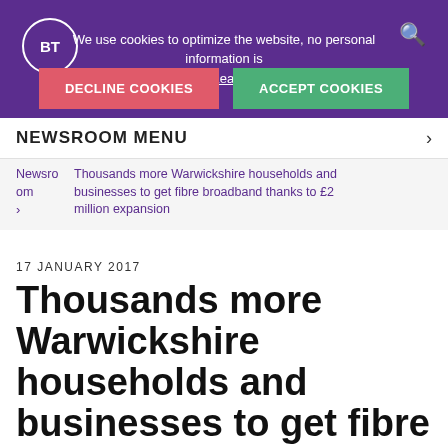We use cookies to optimize the website, no personal information is stored. Learn more
DECLINE COOKIES | ACCEPT COOKIES
NEWSROOM MENU
Newsroom > Thousands more Warwickshire households and businesses to get fibre broadband thanks to £2 million expansion
17 JANUARY 2017
Thousands more Warwickshire households and businesses to get fibre broadband thanks to £2 million expansion